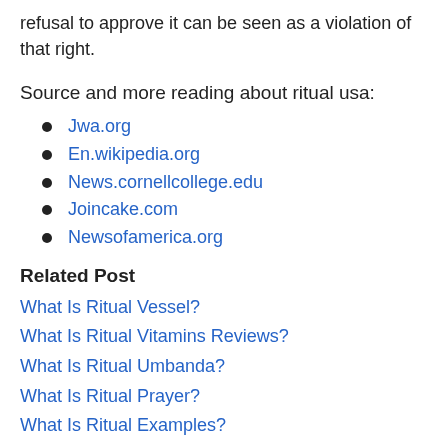refusal to approve it can be seen as a violation of that right.
Source and more reading about ritual usa:
Jwa.org
En.wikipedia.org
News.cornellcollege.edu
Joincake.com
Newsofamerica.org
Related Post
What Is Ritual Vessel?
What Is Ritual Vitamins Reviews?
What Is Ritual Umbanda?
What Is Ritual Prayer?
What Is Ritual Examples?
What Is Ritual Purity?
What Is Ritual Purity in Judaism?
What Is Ritual Vs Routine?
What Is Ritual Humiliation Porn?